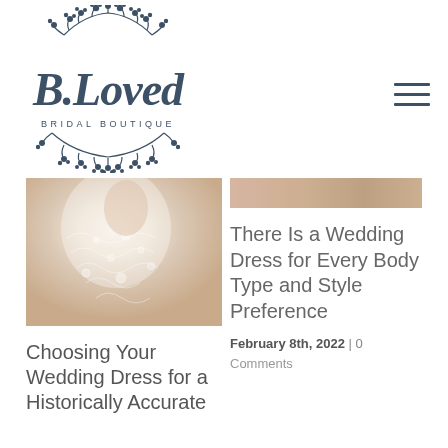[Figure (logo): B.Loved Bridal Boutique logo — cursive script lettering with decorative berry branch wreath, dark navy/slate color]
[Figure (photo): Hamburger menu icon with three horizontal lines]
[Figure (photo): Close-up photo of a bride in a lace wedding dress, cream/ivory tones]
Choosing Your Wedding Dress for a Historically Accurate
[Figure (photo): Partial photo of a bride at top of right column, warm tan/beige tones]
There Is a Wedding Dress for Every Body Type and Style Preference
February 8th, 2022  |  0 Comments